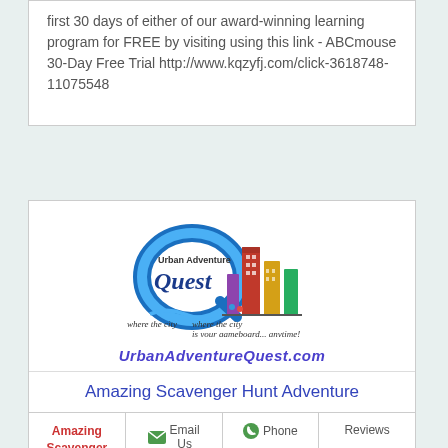first 30 days of either of our award-winning learning program for FREE by visiting using this link - ABCmouse 30-Day Free Trial http://www.kqzyfj.com/click-3618748-11075548
[Figure (logo): Urban Adventure Quest logo with blue Q, colorful city buildings, and tagline 'where the city is your gameboard... anytime!']
UrbanAdventureQuest.com
Amazing Scavenger Hunt Adventure
| Amazing Scavenger Hunt Adventure | Email Us | Phone | Reviews |
| --- | --- | --- | --- |